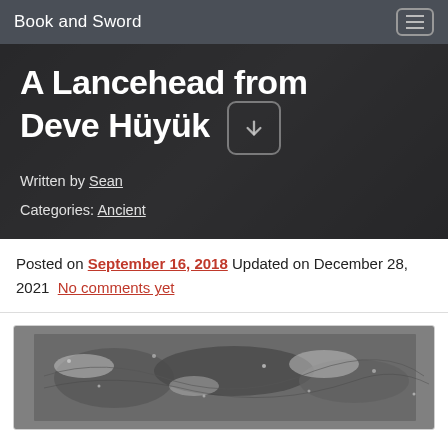Book and Sword
A Lancehead from Deve Hüyük
Written by Sean
Categories: Ancient
Posted on September 16, 2018 Updated on December 28, 2021 No comments yet
[Figure (photo): Black and white photograph of a lancehead artifact from Deve Hüyük, showing detailed surface texture with patina and decorative patterns]